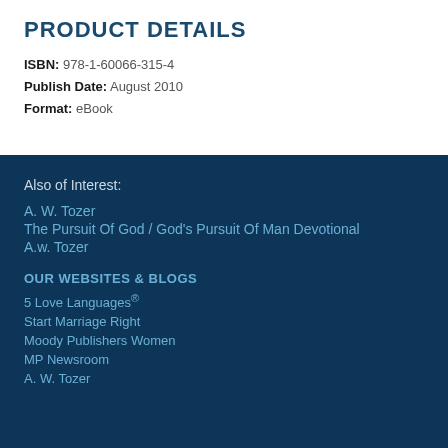PRODUCT DETAILS
ISBN: 978-1-60066-315-4
Publish Date: August 2010
Format: eBook
Also of Interest:
A. W. Tozer
The Pursuit Of God / God's Pursuit Of Man Devotional
A.w. Tozer
OUR WEBSITES & BLOGS
5 Love Languages®
Start Marriage Right
Moody Publishers Women
MP Newsroom
A. W. Tozer